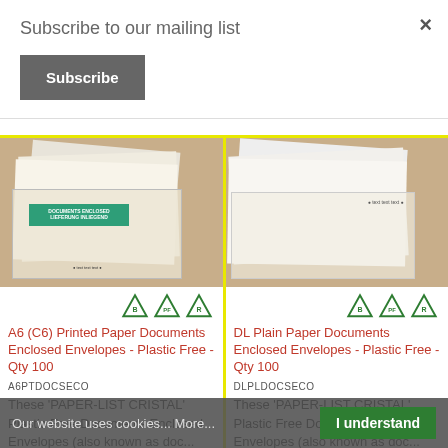Subscribe to our mailing list
Subscribe
[Figure (photo): A6 (C6) printed paper documents enclosed envelope on brown background with green label]
[Figure (photo): DL plain paper documents enclosed envelope on brown background, plain white]
A6 (C6) Printed Paper Documents Enclosed Envelopes - Plastic Free - Qty 100
A6PTDOCSECO
These 'PAPER-LIST CRISTAL' Plastic Free Documents Enclosed Envelopes (also known as doc...
DL Plain Paper Documents Enclosed Envelopes - Plastic Free - Qty 100
DLPLDOCSECO
These 'PAPER-LIST CRISTAL' Plastic Free Documents Enclosed Envelopes (also known as doc...
Our website uses cookies... More...
I understand